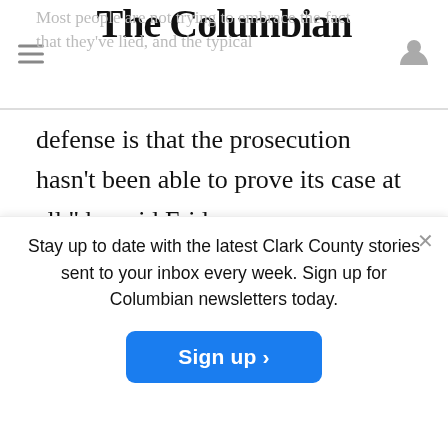The Columbian
defense is that the prosecution hasn't been able to prove its case at all," he said Friday.
Pawa says the defendants will call on noted environmentalists Jim Hansen and Bill
Stay up to date with the latest Clark County stories sent to your inbox every week. Sign up for Columbian newsletters today.
Ward, a 87-year-old president of the National Environmental council, concerns the news